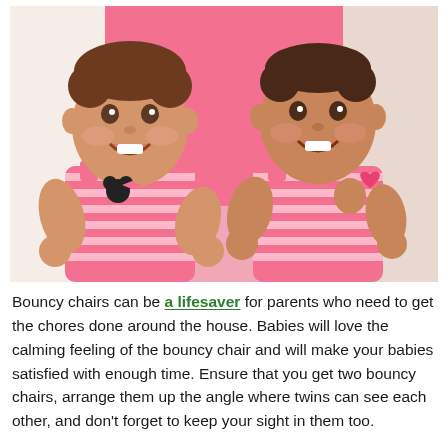[Figure (photo): Two smiling baby girls sitting side by side in a pink bouncy chair, wearing matching pink and white striped outfits with Minnie Mouse print]
Bouncy chairs can be a lifesaver for parents who need to get the chores done around the house. Babies will love the calming feeling of the bouncy chair and will make your babies satisfied with enough time. Ensure that you get two bouncy chairs, arrange them up the angle where twins can see each other, and don't forget to keep your sight in them too.